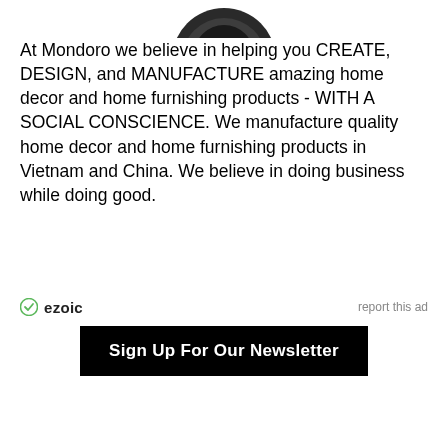[Figure (photo): Partial circular image at top center, appears to be a dark/black and white photograph cropped at the top]
At Mondoro we believe in helping you CREATE, DESIGN, and MANUFACTURE amazing home decor and home furnishing products - WITH A SOCIAL CONSCIENCE. We manufacture quality home decor and home furnishing products in Vietnam and China. We believe in doing business while doing good.
[Figure (logo): Ezoic logo with circular checkmark icon and text 'ezoic', with 'report this ad' link on the right]
[Figure (screenshot): Black button with white bold text reading 'Sign Up For Our Newsletter']